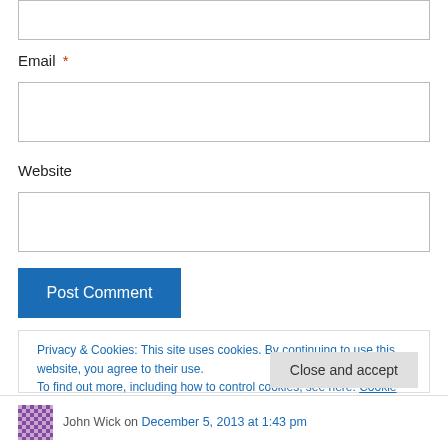[Figure (screenshot): Top portion of a text input box (partially visible at top of page)]
Email *
[Figure (screenshot): Email input text field (empty)]
Website
[Figure (screenshot): Website input text field (empty)]
Post Comment
Privacy & Cookies: This site uses cookies. By continuing to use this website, you agree to their use.
To find out more, including how to control cookies, see here: Cookie Policy
Close and accept
John Wick on December 5, 2013 at 1:43 pm